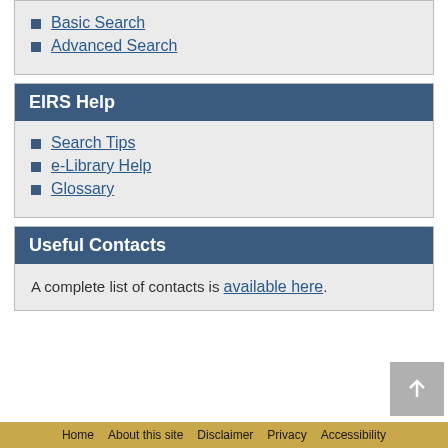Basic Search
Advanced Search
EIRS Help
Search Tips
e-Library Help
Glossary
Useful Contacts
A complete list of contacts is available here.
Home   About this site   Disclaimer   Privacy   Accessibility